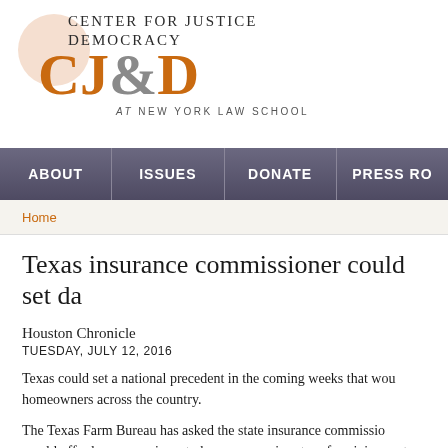[Figure (logo): Center for Justice & Democracy at New York Law School logo with orange CJ&D lettering and peach circle background]
ABOUT | ISSUES | DONATE | PRESS RO...
Home
Texas insurance commissioner could set da...
Houston Chronicle
TUESDAY, JULY 12, 2016
Texas could set a national precedent in the coming weeks that wou... homeowners across the country.
The Texas Farm Bureau has asked the state insurance commissio... would offer lower premiums to homeowners in return for giving up t...